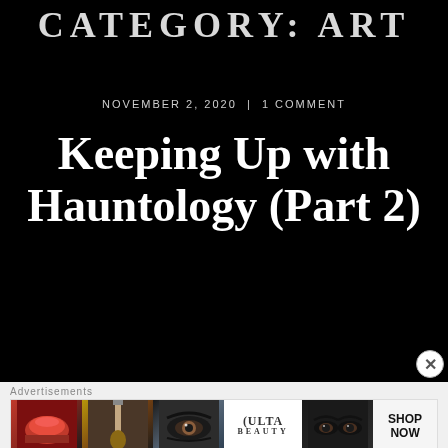CATEGORY: ART
NOVEMBER 2, 2020 | 1 COMMENT
Keeping Up with Hauntology (Part 2)
An interesting comment from Padraig on the recent hauntology post:
[Figure (photo): Advertisement banner for Ulta Beauty showing makeup images (lips, brush, eye, Ulta logo, eyes) with SHOP NOW call to action]